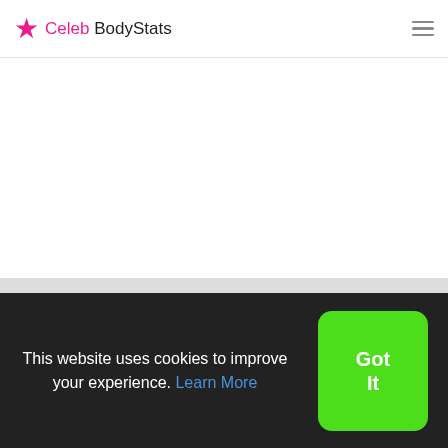Celeb BodyStats
Body Type: hourglass , Nationality: Canadian , Eye color: Brown - Light , Hair color: Blonde
This website uses cookies to improve your experience. Learn More
Got It